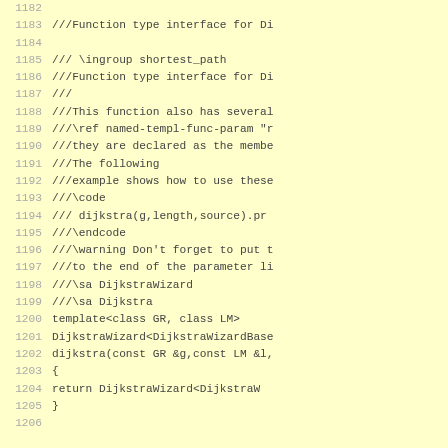Source code listing lines 1182-1206 showing C++ Dijkstra function interface documentation and implementation code